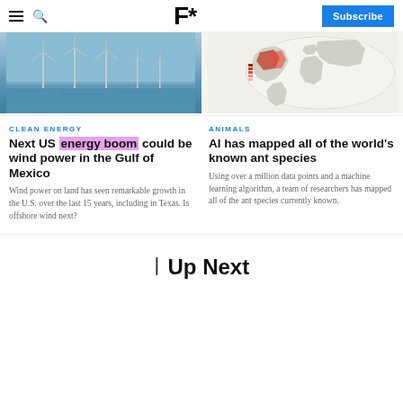F* Subscribe
[Figure (photo): Offshore wind turbines on calm blue water]
[Figure (map): World map showing distribution of ant species with red highlights concentrated in Americas]
CLEAN ENERGY
Next US energy boom could be wind power in the Gulf of Mexico
Wind power on land has seen remarkable growth in the U.S. over the last 15 years, including in Texas. Is offshore wind next?
ANIMALS
AI has mapped all of the world's known ant species
Using over a million data points and a machine learning algorithm, a team of researchers has mapped all of the ant species currently known.
Up Next